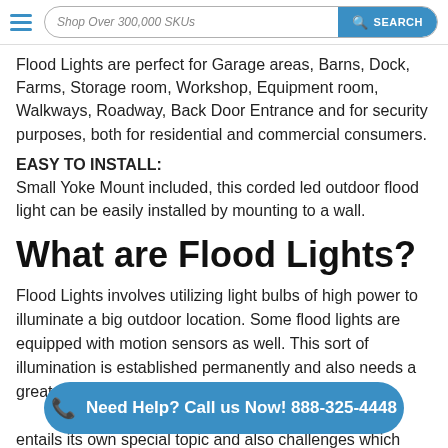Shop Over 300,000 SKUs | SEARCH
Flood Lights are perfect for Garage areas, Barns, Dock, Farms, Storage room, Workshop, Equipment room, Walkways, Roadway, Back Door Entrance and for security purposes, both for residential and commercial consumers.
EASY TO INSTALL:
Small Yoke Mount included, this corded led outdoor flood light can be easily installed by mounting to a wall.
What are Flood Lights?
Flood Lights involves utilizing light bulbs of high power to illuminate a big outdoor location. Some flood lights are equipped with motion sensors as well. This sort of illumination is established permanently and also needs a great deal of electricity... Flood lights are able to set the artificial right... entails its own special topic and also challenges which need to be dealt with. So you may need to be able to best install it...
Need Help? Call us Now! 888-325-4448